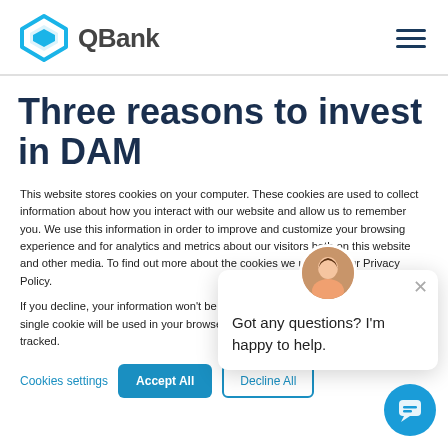QBank
Three reasons to invest in DAM
This website stores cookies on your computer. These cookies are used to collect information about how you interact with our website and allow us to remember you. We use this information in order to improve and customize your browsing experience and for analytics and metrics about our visitors both on this website and other media. To find out more about the cookies we use, see our Privacy Policy.
If you decline, your information won't be tracked when you visit this website. A single cookie will be used in your browser to remember your preference not to be tracked.
Got any questions? I'm happy to help.
Cookies settings
Accept All
Decline All